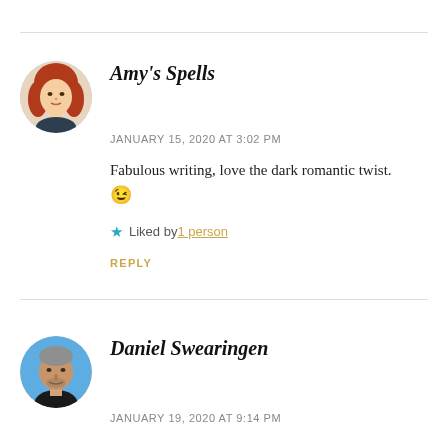[Figure (other): Horizontal divider line at top]
[Figure (photo): Circular avatar photo of Amy's Spells - woman with red/auburn hair]
Amy's Spells
JANUARY 15, 2020 AT 3:02 PM
Fabulous writing, love the dark romantic twist. 😉
★ Liked by 1 person
REPLY
[Figure (other): Horizontal divider line between comments]
[Figure (photo): Circular avatar photo of Daniel Swearingen - man with gray hair and blue chair background]
Daniel Swearingen
JANUARY 19, 2020 AT 9:14 PM